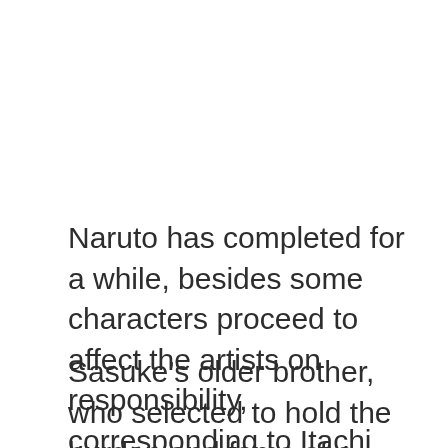Naruto has completed for a while, besides some characters proceed to affect the artists on responsibility, corresponding to Itachi Uchiha.
Sasuke's older brother, who selected to hold the burden and fame of a assassin alone simply to guard his brother, is likely one of the coolest